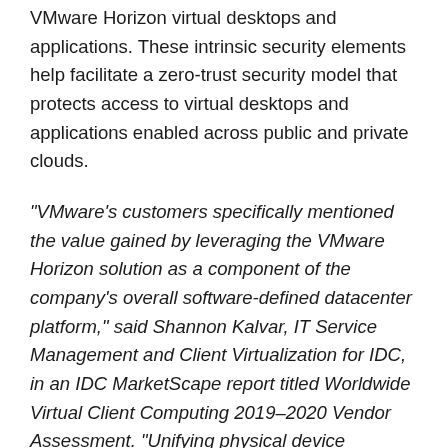VMware Horizon virtual desktops and applications. These intrinsic security elements help facilitate a zero-trust security model that protects access to virtual desktops and applications enabled across public and private clouds.
“VMware’s customers specifically mentioned the value gained by leveraging the VMware Horizon solution as a component of the company’s overall software-defined datacenter platform,” said Shannon Kalvar, IT Service Management and Client Virtualization for IDC, in an IDC MarketScape report titled Worldwide Virtual Client Computing 2019–2020 Vendor Assessment. “Unifying physical device management (including PCs, Chromebooks, and phones), digital workspace creation/operations, and